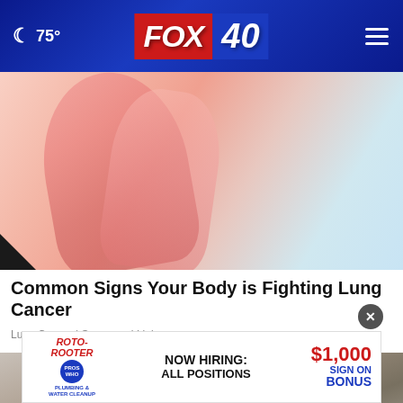FOX 40 | 75°
[Figure (photo): Abstract blurred image suggesting a body part or ribbon, pinkish-red and light blue tones, related to lung cancer awareness]
Common Signs Your Body is Fighting Lung Cancer
Lung Cancer | Sponsored Links
[Figure (photo): Street scene with people walking, close-up of feet and luggage on pavement]
ROTO-ROOTER PLUMBING & WATER CLEANUP | NOW HIRING: ALL POSITIONS | $1,000 SIGN ON BONUS